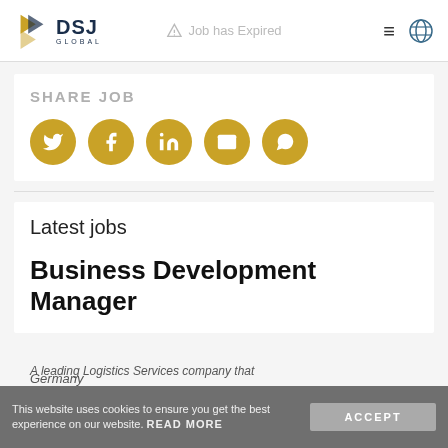DSJ Global | Job has Expired
SHARE JOB
[Figure (infographic): Five golden circular social share buttons: Twitter, Facebook, LinkedIn, Email, WhatsApp]
Latest jobs
Business Development Manager
Germany
A leading Logistics Services company that
This website uses cookies to ensure you get the best experience on our website. READ MORE